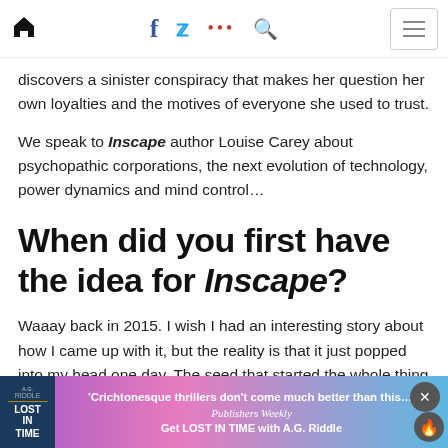Navigation bar with home, facebook, twitter, more, search icons and menu button
discovers a sinister conspiracy that makes her question her own loyalties and the motives of everyone she used to trust.
We speak to Inscape author Louise Carey about psychopathic corporations, the next evolution of technology, power dynamics and mind control…
When did you first have the idea for Inscape?
Waaay back in 2015. I wish I had an interesting story about how I came up with it, but the reality is that it just popped into my head one day. The seed that started the whole thing was the Inscape technology itself, and a sense that the novel would be set in a society run by big corporations; everything else grew from that. I'd decided on those elements — and the title — long before I settled on a cast or a plot, which both came relatively late in the process. In my earliest notes on the book…